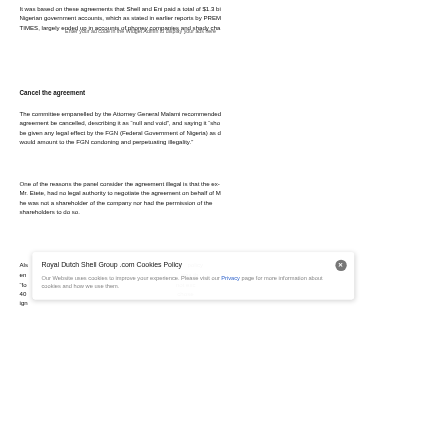It was based on these agreements that Shell and Eni paid a total of $1.3 bi Nigerian government accounts, which as stated in earlier reports by PREM TIMES, largely ended up in accounts of phoney companies and shady cha
Enter your ad code in the Widget Admin to display your ads here
Cancel the agreement
The committee empanelled by the Attorney General Malami recommended agreement be cancelled, describing it as “null and void”, and saying it “sho be given any legal effect by the FGN (Federal Government of Nigeria) as d would amount to the FGN condoning and perpetuating illegality.”
One of the reasons the panel consider the agreement illegal is that the ex- Mr. Etete, had no legal authority to negotiate the agreement on behalf of M he was not a shareholder of the company nor had the permission of the shareholders to do so.
Als policy en was th “fo not exc 40 chose ign
Royal Dutch Shell Group .com Cookies Policy
Our Website uses cookies to improve your experience. Please visit our Privacy page for more information about cookies and how we use them.